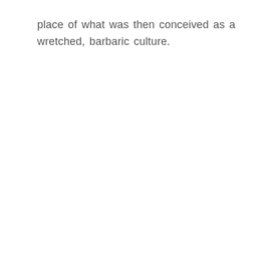place of what was then conceived as a wretched, barbaric culture.